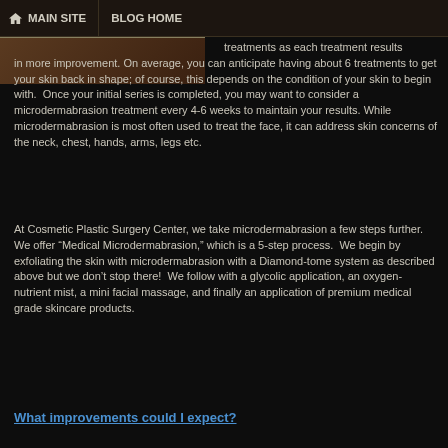MAIN SITE   BLOG HOME
treatments as each treatment results in more improvement. On average, you can anticipate having about 6 treatments to get your skin back in shape; of course, this depends on the condition of your skin to begin with.  Once your initial series is completed, you may want to consider a microdermabrasion treatment every 4-6 weeks to maintain your results. While microdermabrasion is most often used to treat the face, it can address skin concerns of the neck, chest, hands, arms, legs etc.
At Cosmetic Plastic Surgery Center, we take microdermabrasion a few steps further. We offer “Medical Microdermabrasion,” which is a 5-step process.  We begin by exfoliating the skin with microdermabrasion with a Diamond-tome system as described above but we don’t stop there!  We follow with a glycolic application, an oxygen-nutrient mist, a mini facial massage, and finally an application of premium medical grade skincare products.
What improvements could I expect?